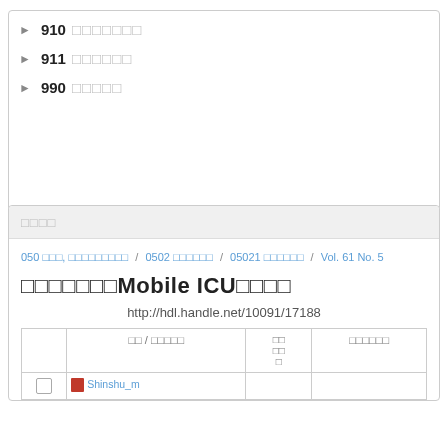910 □□□□□□□
911 □□□□□□
990 □□□□□
□□□□
050 □□□, □□□□□□□□□ / 0502 □□□□□□ / 05021 □□□□□□ / Vol. 61 No. 5
□□□□□□□Mobile ICU□□□□
http://hdl.handle.net/10091/17188
|  | □□ / □□□□□ | □□
□□
□ | □□□□□□ |
| --- | --- | --- | --- |
| □ | □□ / □□□□□ | □□□□□ | □□□□□□ |
| □ | Shinshu_m |  |  |